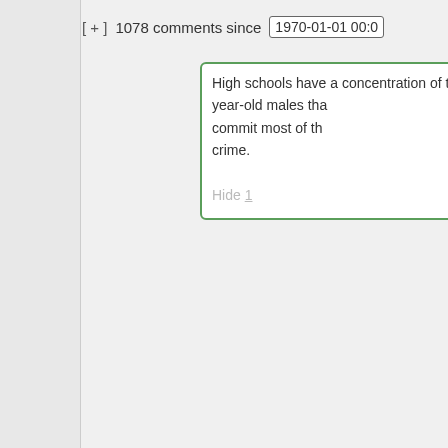[ + ]  1078 comments since  1970-01-01 00:0
High schools have a concentration of the year-old males that commit most of the crime.

Hide 1
[Figure (photo): Avatar image of a classical Greek/Roman bust statue (Protagoras)]
Protagoras says:
May 9, 2019 at 2:3
~new~
This was just over years ago, but back my public high school more than 2000 students got by just fine with cops permanently assigned to the school